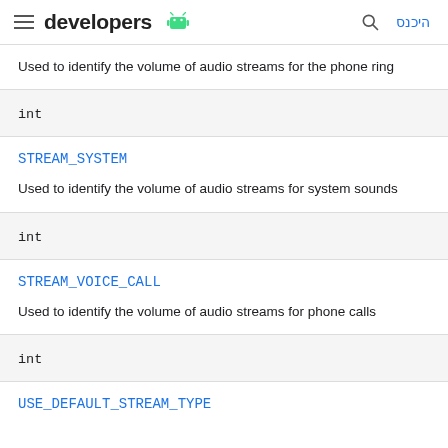developers [android logo] | היכנס
Used to identify the volume of audio streams for the phone ring
int
STREAM_SYSTEM
Used to identify the volume of audio streams for system sounds
int
STREAM_VOICE_CALL
Used to identify the volume of audio streams for phone calls
int
USE_DEFAULT_STREAM_TYPE